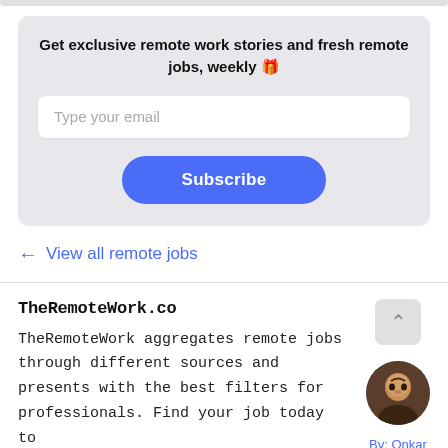Get exclusive remote work stories and fresh remote jobs, weekly 🎁
Type your email
Subscribe
← View all remote jobs
TheRemoteWork.co
TheRemoteWork aggregates remote jobs through different sources and presents with the best filters for professionals. Find your job today to
By: Onkar